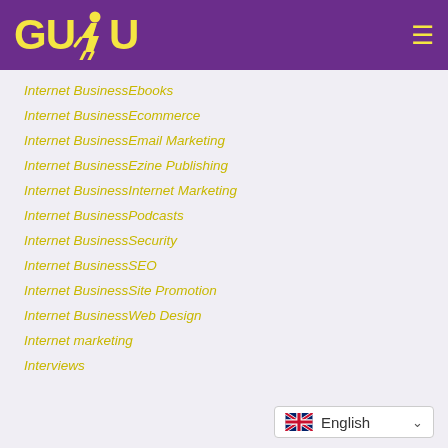[Figure (logo): GUDU logo with running figure, yellow text on purple background header with hamburger menu icon]
Internet BusinessEbooks
Internet BusinessEcommerce
Internet BusinessEmail Marketing
Internet BusinessEzine Publishing
Internet BusinessInternet Marketing
Internet BusinessPodcasts
Internet BusinessSecurity
Internet BusinessSEO
Internet BusinessSite Promotion
Internet BusinessWeb Design
Internet marketing
Interviews
[Figure (other): Language selector dropdown showing UK flag and 'English' text with chevron]